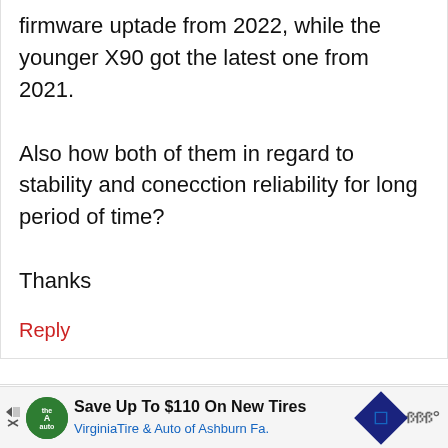firmware uptade from 2022, while the younger X90 got the latest one from 2021.

Also how both of them in regard to stability and conecction reliability for long period of time?

Thanks
Reply
Dana Noc
[Figure (other): Advertisement banner: Save Up To $110 On New Tires - Virginia Tire & Auto of Ashburn Fa.]